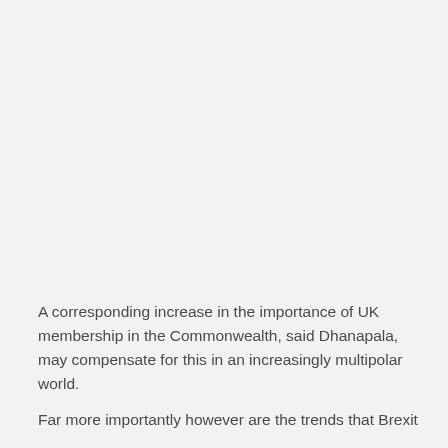A corresponding increase in the importance of UK membership in the Commonwealth, said Dhanapala, may compensate for this in an increasingly multipolar world.
Far more importantly however are the trends that Brexit